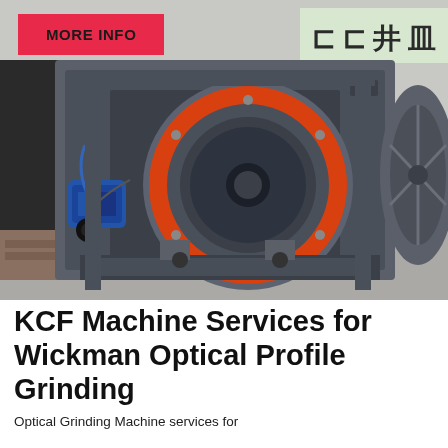[Figure (photo): Industrial optical profile grinding machine photographed in a workshop. The machine is large and grey/dark colored with a prominent circular orange-ringed grinding wheel assembly in the center. A blue motor/gearbox component is visible on the left side. Chinese characters are visible on signage in the background.]
MORE INFO
KCF Machine Services for Wickman Optical Profile Grinding
Optical Grinding Machine services for